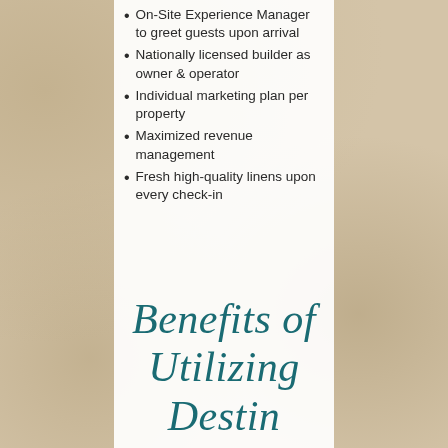On-Site Experience Manager to greet guests upon arrival
Nationally licensed builder as owner & operator
Individual marketing plan per property
Maximized revenue management
Fresh high-quality linens upon every check-in
Benefits of Utilizing Destin